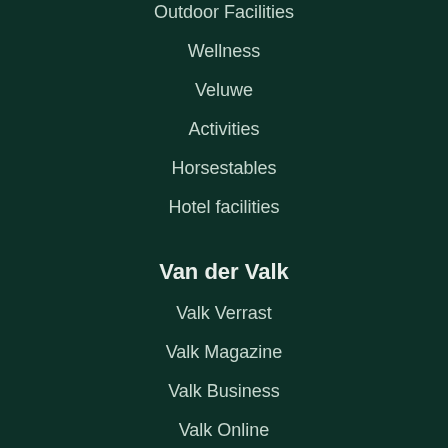Outdoor Facilities
Wellness
Veluwe
Activities
Horsestables
Hotel facilities
Van der Valk
Valk Verrast
Valk Magazine
Valk Business
Valk Online